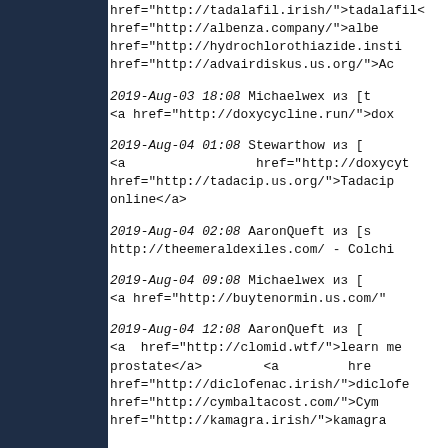href="http://tadalafil.irish/">tadalafil< href="http://albenza.company/">albe href="http://hydrochlorothiazide.insti href="http://advairdiskus.us.org/">Ac
2019-Aug-03 18:08 Michaelwex из [t <a href="http://doxycycline.run/">dox
2019-Aug-04 01:08 Stewarthow из [ <a                 href="http://doxycyt href="http://tadacip.us.org/">Tadacip online</a>
2019-Aug-04 02:08 AaronQueft из [s http://theemeraldexiles.com/ - Colchi
2019-Aug-04 09:08 Michaelwex из [ <a href="http://buytenormin.us.com/"
2019-Aug-04 12:08 AaronQueft из [ <a  href="http://clomid.wtf/">learn me prostate</a>        <a         hre href="http://diclofenac.irish/">diclofe href="http://cymbaltacost.com/">Cym href="http://kamagra.irish/">kamagra